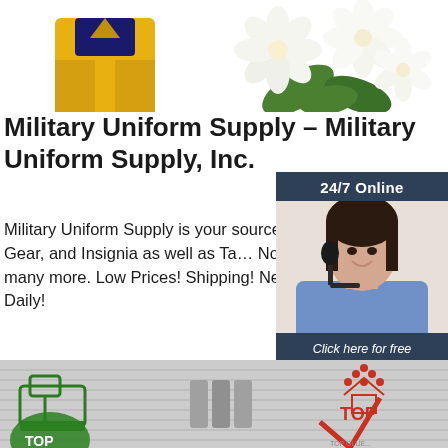[Figure (photo): Top banner with yellow military uniform on left and white flowers on right]
Military Uniform Supply – Military Uniform Supply, Inc.
Military Uniform Supply is your source for Clothing, Gear, and Insignia as well as Tactical Novelty Items and many more. Low Prices! Free Shipping! New Items Added Daily!
[Figure (photo): 24/7 Online customer service representative with headset, dark-haired woman smiling, with 'Click here for free chat!' text and QUOTATION button on dark navy background]
[Figure (logo): Orange Get Price button]
[Figure (photo): Bottom strip with green sewing machine logo on left, metal containers in center, and TOP logo with red V mark on right]